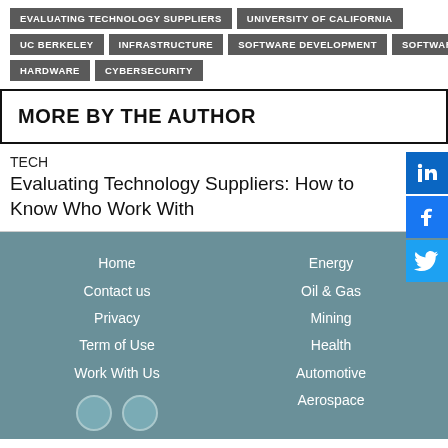EVALUATING TECHNOLOGY SUPPLIERS
UNIVERSITY OF CALIFORNIA
UC BERKELEY
INFRASTRUCTURE
SOFTWARE DEVELOPMENT
SOFTWARE
HARDWARE
CYBERSECURITY
MORE BY THE AUTHOR
TECH
Evaluating Technology Suppliers: How to Know Who Work With
Home
Contact us
Privacy
Term of Use
Work With Us
Energy
Oil & Gas
Mining
Health
Automotive
Aerospace